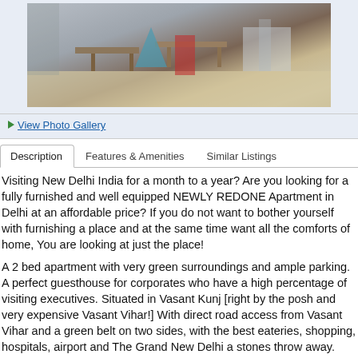[Figure (photo): Interior photo of apartment showing tables and furniture in a room with light flooring]
View Photo Gallery
Description | Features & Amenities | Similar Listings
Visiting New Delhi India for a month to a year? Are you looking for a fully furnished and well equipped NEWLY REDONE Apartment in Delhi at an affordable price? If you do not want to bother yourself with furnishing a place and at the same time want all the comforts of home, You are looking at just the place!
A 2 bed apartment with very green surroundings and ample parking. A perfect guesthouse for corporates who have a high percentage of visiting executives. Situated in Vasant Kunj [right by the posh and very expensive Vasant Vihar!] With direct road access from Vasant Vihar and a green belt on two sides, with the best eateries, shopping, hospitals, airport and The Grand New Delhi a stones throw away.
My flat offers you all the comforts one expects of a Hotel at a fraction of the cost.
I am a Hotelier by qualification[http://www.bfs-news.at] and have spent some years in...